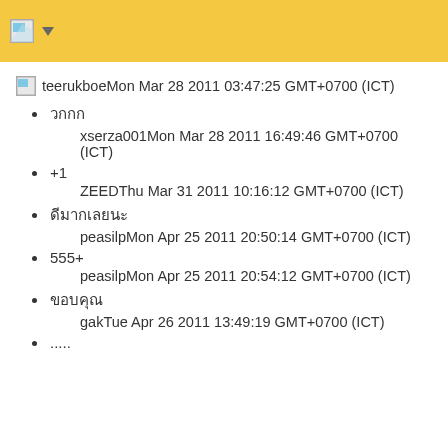teerukboeMon Mar 28 2011 03:47:25 GMT+0700 (ICT)
วกกก
xserza001Mon Mar 28 2011 16:49:46 GMT+0700 (ICT)
+1
ZEEDThu Mar 31 2011 10:16:12 GMT+0700 (ICT)
ดีมากเลยนะ
peasilpMon Apr 25 2011 20:50:14 GMT+0700 (ICT)
555+
peasilpMon Apr 25 2011 20:54:12 GMT+0700 (ICT)
ขอบคุณ
gakTue Apr 26 2011 13:49:19 GMT+0700 (ICT)
.....